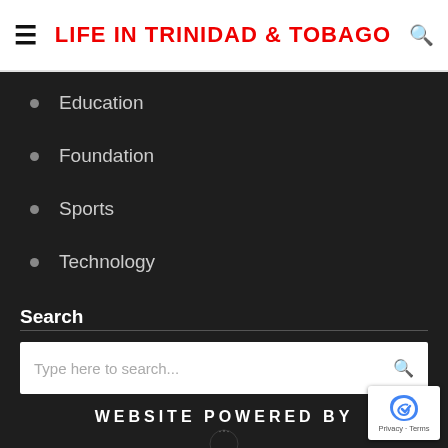LIFE IN TRINIDAD & TOBAGO
Education
Foundation
Sports
Technology
Search
Type here to search...
WEBSITE POWERED BY
[Figure (logo): Circular logo partially visible at bottom of page]
[Figure (other): reCAPTCHA badge with Privacy and Terms links]